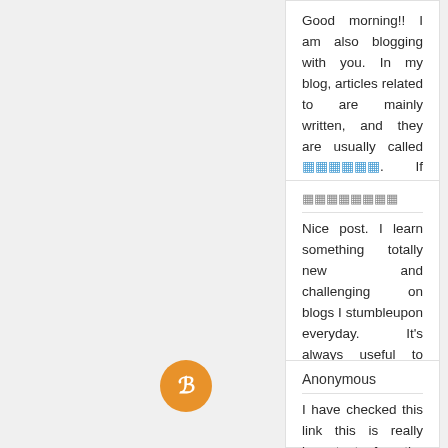Good morning!! I am also blogging with you. In my blog, articles related to are mainly written, and they are usually called [Japanese link]. If you are curious about , please visit!!
Reply
[Japanese author name]
Nice post. I learn something totally new and challenging on blogs I stumbleupon everyday. It’s always useful to read through content from other authors and use something from other sites. [Japanese link]
Reply
Anonymous
I have checked this link this is really important for the people to get